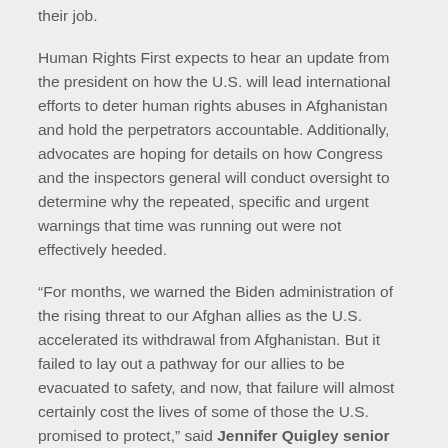their job.
Human Rights First expects to hear an update from the president on how the U.S. will lead international efforts to deter human rights abuses in Afghanistan and hold the perpetrators accountable. Additionally, advocates are hoping for details on how Congress and the inspectors general will conduct oversight to determine why the repeated, specific and urgent warnings that time was running out were not effectively heeded.
“For months, we warned the Biden administration of the rising threat to our Afghan allies as the U.S. accelerated its withdrawal from Afghanistan. But it failed to lay out a pathway for our allies to be evacuated to safety, and now, that failure will almost certainly cost the lives of some of those the U.S. promised to protect,” said Jennifer Quigley senior director for government affairs at Human Rights First. “The Biden administration must immediately ensure the airport in Kabul is secured with all necessary military assets required to get Afghans who served with American military and civil society actors to safety. There need to be several flights a day to evacuate Afghans at risk and for this